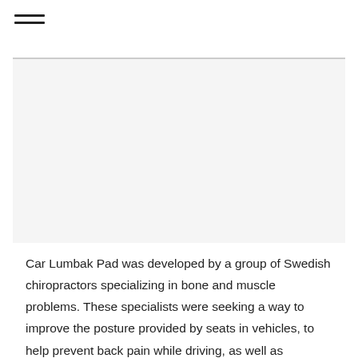[Figure (other): Hamburger menu icon (three horizontal lines) in top-left corner]
[Figure (photo): Large image area (car lumbar pad product or related photo) below the top divider line, appears blank/white in this rendering]
Car Lumbak Pad was developed by a group of Swedish chiropractors specializing in bone and muscle problems. These specialists were seeking a way to improve the posture provided by seats in vehicles, to help prevent back pain while driving, as well as potential back problems that may arise in the future